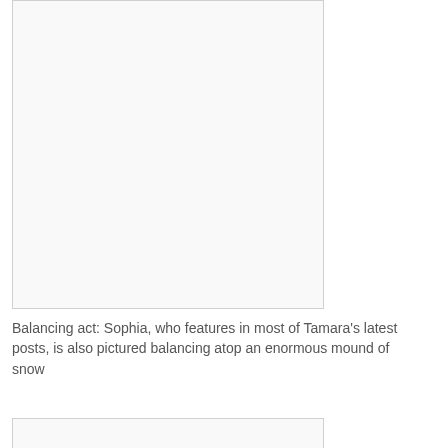[Figure (photo): Large photo placeholder — white/light grey rectangle with border, positioned at top left of page]
Balancing act: Sophia, who features in most of Tamara's latest posts, is also pictured balancing atop an enormous mound of snow
[Figure (photo): Second photo placeholder — white/light grey rectangle with border, partially visible at bottom of page]